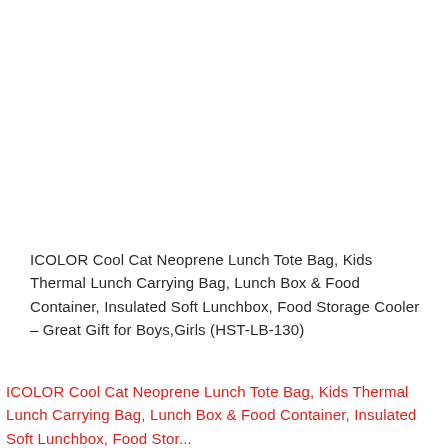ICOLOR Cool Cat Neoprene Lunch Tote Bag, Kids Thermal Lunch Carrying Bag, Lunch Box & Food Container, Insulated Soft Lunchbox, Food Storage Cooler – Great Gift for Boys,Girls (HST-LB-130)
ICOLOR Cool Cat Neoprene Lunch Tote Bag, Kids Thermal Lunch Carrying Bag, Lunch Box & Food Container, Insulated Soft Lunchbox, Food Storage Cooler...